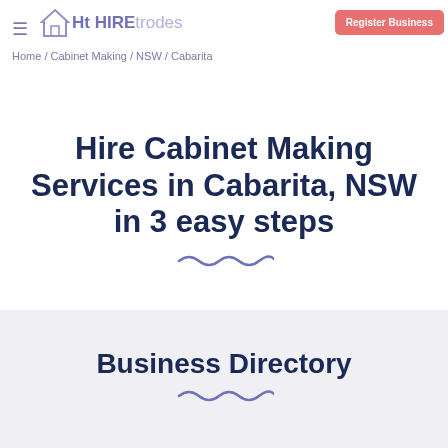≡  Ht HIREtrodes  Register Business
Home / Cabinet Making / NSW / Cabarita
Hire Cabinet Making Services in Cabarita, NSW in 3 easy steps
Business Directory